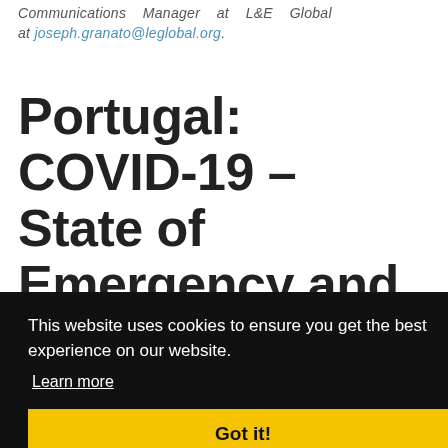Communications Manager at L&E Global at joseph.granato@leglobal.org.
Portugal: COVID-19 – State of Emergency and Employment Measures
This website uses cookies to ensure you get the best experience on our website. Learn more
Got it!
The significance of the COVID-19 outbreak to employment...